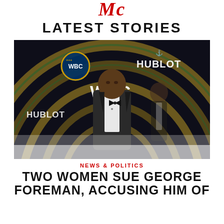Mc
LATEST STORIES
[Figure (photo): Man in black tuxedo with bow tie standing in front of WBC and Hublot branded circular arch backdrop with green and gold lighting]
NEWS & POLITICS
TWO WOMEN SUE GEORGE FOREMAN, ACCUSING HIM OF